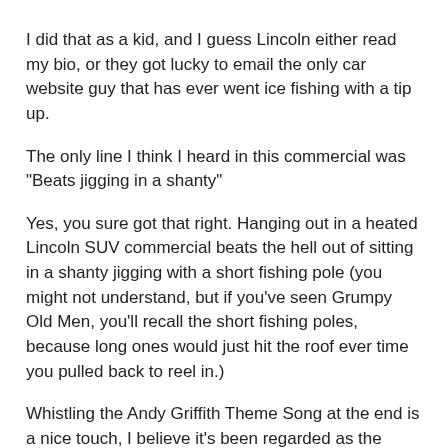I did that as a kid, and I guess Lincoln either read my bio, or they got lucky to email the only car website guy that has ever went ice fishing with a tip up.
The only line I think I heard in this commercial was "Beats jigging in a shanty"
Yes, you sure got that right. Hanging out in a heated Lincoln SUV commercial beats the hell out of sitting in a shanty jigging with a short fishing pole (you might not understand, but if you've seen Grumpy Old Men, you'll recall the short fishing poles, because long ones would just hit the roof ever time you pulled back to reel in.)
Whistling the Andy Griffith Theme Song at the end is a nice touch, I believe it's been regarded as the national fisherman's song for decades. It's currently the subject of a licensing lawsuit. CBS never had it legally for dvds, and yet, isn't paying the trust funds of the grand kids of the two men who created that music and copyrighted it in 1960... for the sales of dvds with that.